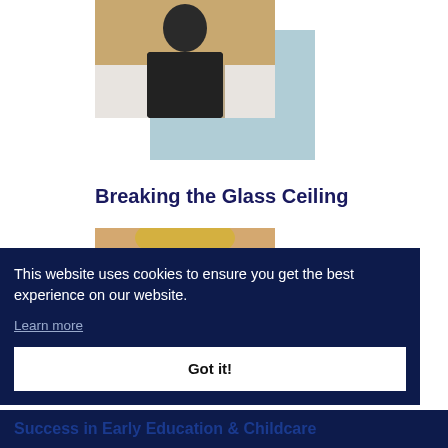[Figure (photo): Person in dark jacket standing against a wooden background, with a light blue decorative rectangle behind]
Breaking the Glass Ceiling
[Figure (photo): Blonde woman partially visible, with a light blue decorative rectangle, partially obscured by cookie banner]
This website uses cookies to ensure you get the best experience on our website.
Learn more
Got it!
Success in Early Education & Childcare